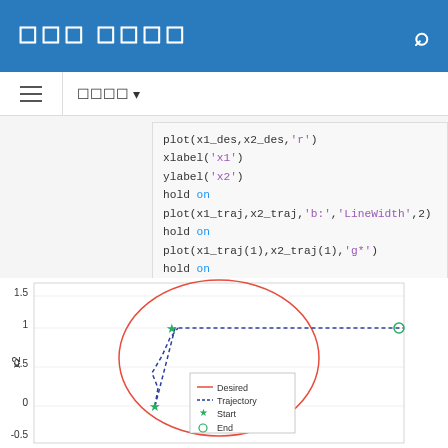문서 제목 (header bar with search icon)
내용 ▼ (navigation bar)
plot(x1_des,x2_des,'r')
xlabel('x1')
ylabel('x2')
hold on
plot(x1_traj,x2_traj,'b:','LineWidth',2)
hold on
plot(x1_traj(1),x2_traj(1),'g*')
hold on
plot(x1_traj(end),x2_traj(end),'go')
legend('Desired','Trajectory','Start','End','L
[Figure (continuous-plot): A 2D phase-plane plot showing a red circle (Desired trajectory), a blue dotted trajectory path, a green star marker (Start), and a green circle marker (End). Y-axis labeled x2, values from about -0.5 to 1.5. Legend shows Desired, Trajectory, Start, End.]